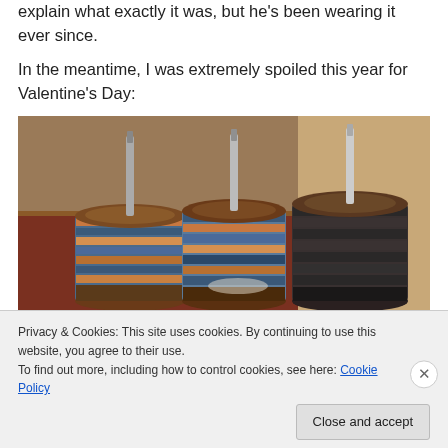explain what exactly it was, but he's been wearing it ever since.
In the meantime, I was extremely spoiled this year for Valentine's Day:
[Figure (photo): Three wooden spinning bobbins/spools loaded with yarn sitting on a wooden table. The two left spools have multicolored blue, orange, and brown yarn. The right spool has dark grey/charcoal yarn. Background shows a living room with red carpet and furniture.]
Privacy & Cookies: This site uses cookies. By continuing to use this website, you agree to their use.
To find out more, including how to control cookies, see here: Cookie Policy
Close and accept